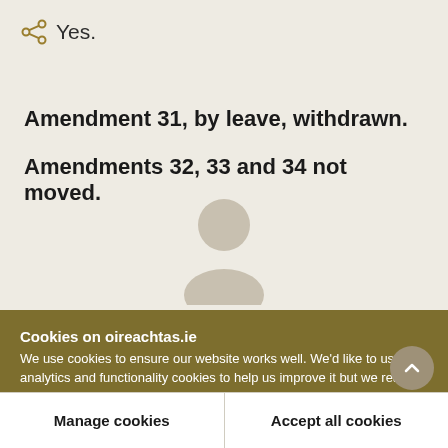Yes.
Amendment 31, by leave, withdrawn.
Amendments 32, 33 and 34 not moved.
[Figure (illustration): Generic person/user silhouette icon in light tan/beige color]
Cookies on oireachtas.ie
We use cookies to ensure our website works well. We'd like to use analytics and functionality cookies to help us improve it but we require your consent to do so. If you don't consent, only necessary cookies will be used. Read more about our cookies
Manage cookies
Accept all cookies